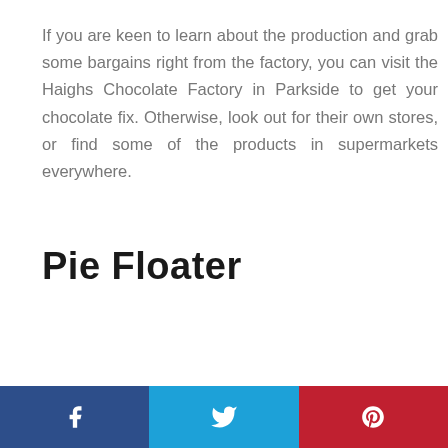If you are keen to learn about the production and grab some bargains right from the factory, you can visit the Haighs Chocolate Factory in Parkside to get your chocolate fix. Otherwise, look out for their own stores, or find some of the products in supermarkets everywhere.
Pie Floater
[Figure (other): Social media share buttons footer bar with Facebook (dark blue), Twitter (light blue), and Pinterest (red) icons]